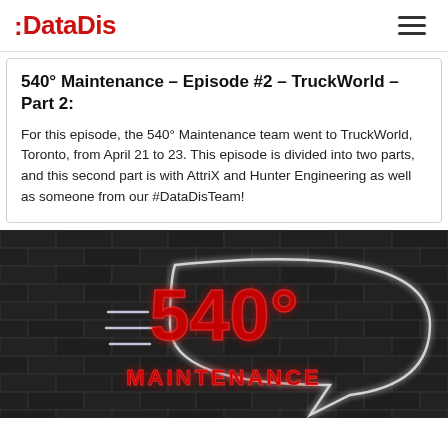:DataDis
540° Maintenance – Episode #2 – TruckWorld – Part 2:
For this episode, the 540° Maintenance team went to TruckWorld, Toronto, from April 21 to 23. This episode is divided into two parts, and this second part is with AttriX and Hunter Engineering as well as someone from our #DataDisTeam!
[Figure (illustration): 540° Maintenance neon sign logo on dark brick wall background. Red neon text '540°' and 'MAINTENANCE' with white neon lightning bolt/speed lines on a dark charcoal brick wall.]